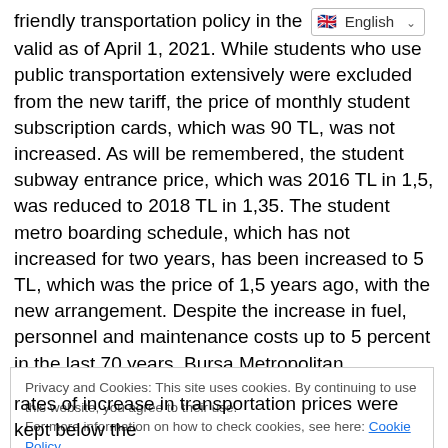friendly transportation policy in the [English language selector] valid as of April 1, 2021. While students who use public transportation extensively were excluded from the new tariff, the price of monthly student subscription cards, which was 90 TL, was not increased. As will be remembered, the student subway entrance price, which was 2016 TL in 1,5, was reduced to 2018 TL in 1,35. The student metro boarding schedule, which has not increased for two years, has been increased to 5 TL, which was the price of 1,5 years ago, with the new arrangement. Despite the increase in fuel, personnel and maintenance costs up to 5 percent in the last 70 years, Bursa Metropolitan Municipality continues its student-friendly transportation policy with determination.
Privacy and Cookies: This site uses cookies. By continuing to use this website, you agree to their use.
For more information on how to check cookies, see here: Cookie Policy
rates of increase in transportation prices were kept below the